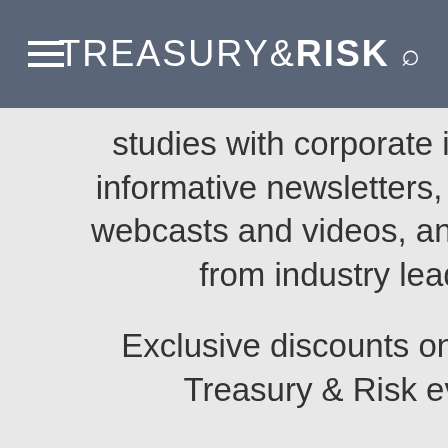TREASURY&RISK
studies with corporate innovators, informative newsletters, educational webcasts and videos, and resources from industry leaders.
Exclusive discounts on ALM and Treasury & Risk events.
Access to other award-winning ALM websites including